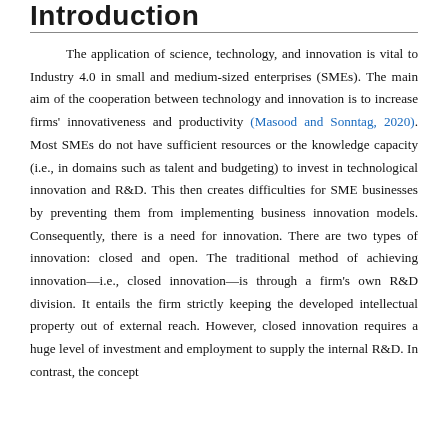Introduction
The application of science, technology, and innovation is vital to Industry 4.0 in small and medium-sized enterprises (SMEs). The main aim of the cooperation between technology and innovation is to increase firms' innovativeness and productivity (Masood and Sonntag, 2020). Most SMEs do not have sufficient resources or the knowledge capacity (i.e., in domains such as talent and budgeting) to invest in technological innovation and R&D. This then creates difficulties for SME businesses by preventing them from implementing business innovation models. Consequently, there is a need for innovation. There are two types of innovation: closed and open. The traditional method of achieving innovation—i.e., closed innovation—is through a firm's own R&D division. It entails the firm strictly keeping the developed intellectual property out of external reach. However, closed innovation requires a huge level of investment and employment to supply the internal R&D. In contrast, the concept